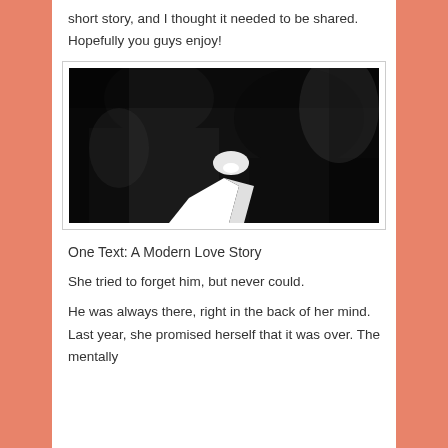short story, and I thought it needed to be shared. Hopefully you guys enjoy!
[Figure (photo): Black and white silhouette photograph of two people about to kiss, faces close together in profile against a dark background with some light between them.]
One Text: A Modern Love Story
She tried to forget him, but never could.
He was always there, right in the back of her mind. Last year, she promised herself that it was over. The mentally